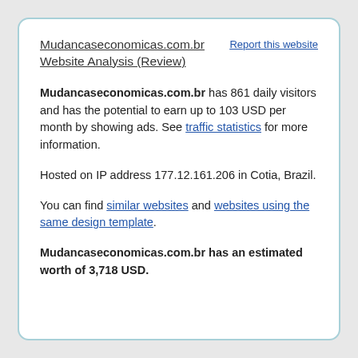Mudancaseconomicas.com.br Website Analysis (Review)
Report this website
Mudancaseconomicas.com.br has 861 daily visitors and has the potential to earn up to 103 USD per month by showing ads. See traffic statistics for more information.
Hosted on IP address 177.12.161.206 in Cotia, Brazil.
You can find similar websites and websites using the same design template.
Mudancaseconomicas.com.br has an estimated worth of 3,718 USD.